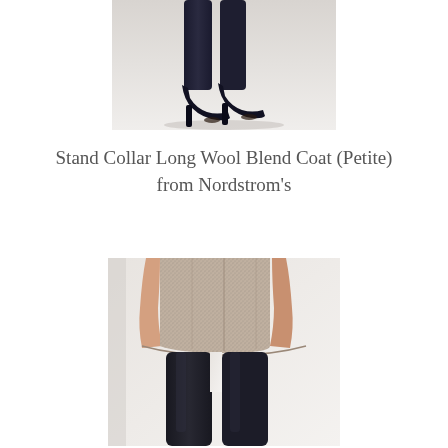[Figure (photo): Close-up photo of a person's feet/lower legs showing black open-toe heeled sandals against a light background]
Stand Collar Long Wool Blend Coat (Petite) from Nordstrom's
[Figure (photo): Photo of a person wearing a stand collar long wool blend coat in a heathered gray/beige tweed pattern with black leggings, showing the lower portion of the coat and legs]